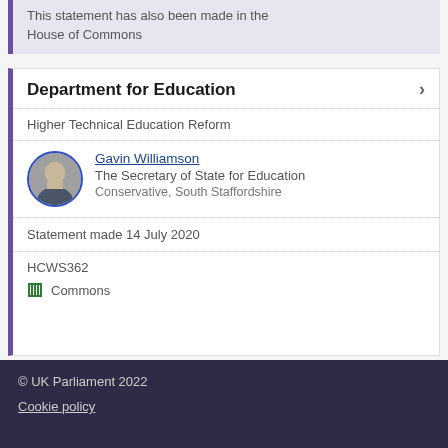This statement has also been made in the House of Commons
Department for Education
Higher Technical Education Reform
Gavin Williamson
The Secretary of State for Education
Conservative, South Staffordshire
Statement made 14 July 2020
HCWS362
Commons
© UK Parliament 2022
Cookie policy